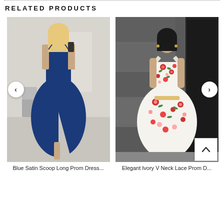RELATED PRODUCTS
[Figure (photo): Blue satin scoop neck long prom dress with high slit, model taking mirror selfie]
Blue Satin Scoop Long Prom Dress...
[Figure (photo): Elegant ivory V neck lace prom dress with floral embroidery, model standing by dark door]
Elegant Ivory V Neck Lace Prom D...